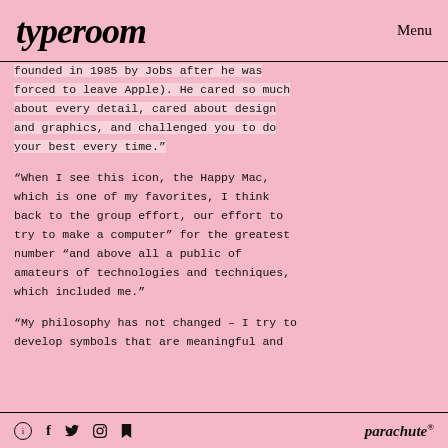typeroom   Menu
founded in 1985 by Jobs after he was forced to leave Apple). He cared so much about every detail, cared about design and graphics, and challenged you to do your best every time.”
“When I see this icon, the Happy Mac, which is one of my favorites, I think back to the group effort, our effort to try to make a computer” for the greatest number “and above all a public of amateurs of technologies and techniques, which included me.”
“My philosophy has not changed – I try to develop symbols that are meaningful and
ⓘ  f  🐦  📷  p   parachute®